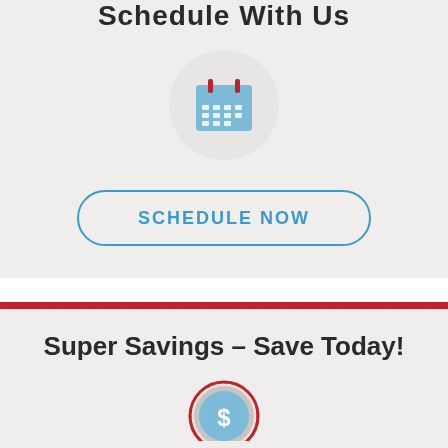Schedule With Us
[Figure (illustration): Calendar icon in light blue with red binding rings, inside a light gray circle]
SCHEDULE NOW
Super Savings – Save Today!
[Figure (illustration): Coin/dollar sign icon with blue dollar symbol and red/gray border, partially visible at bottom]